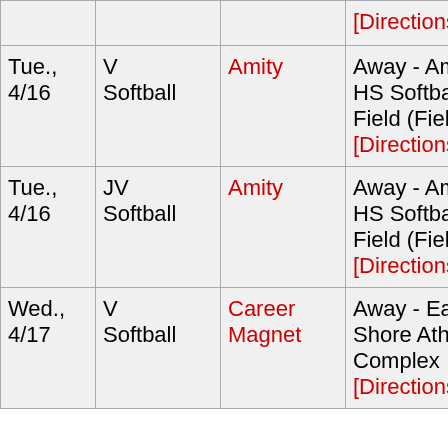| Date | Event | Opponent | Location |
| --- | --- | --- | --- |
|  |  |  | [Directions] |
| Tue., 4/16 | V Softball | Amity | Away - Amity HS Softball Field (Field #6)
[Directions] |
| Tue., 4/16 | JV Softball | Amity | Away - Amity HS Softball Field (Field #6)
[Directions] |
| Wed., 4/17 | V Softball | Career Magnet | Away - East Shore Athletic Complex
[Directions] |